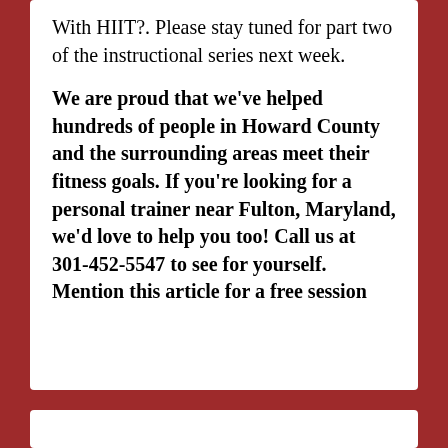With HIIT?.  Please stay tuned for part two of the instructional series next week.
We are proud that we've helped hundreds of people in Howard County and the surrounding areas meet their fitness goals. If you're looking for a personal trainer near Fulton, Maryland, we'd love to help you too! Call us at 301-452-5547 to see for yourself. Mention this article for a free session